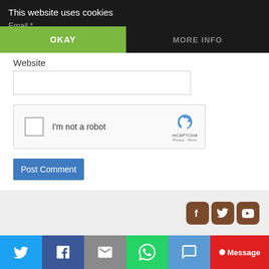This website uses cookies
Email *
OKAY
MORE INFO
Website
[Figure (screenshot): reCAPTCHA widget with checkbox labeled 'I'm not a robot' and reCAPTCHA logo with Privacy - Terms text]
Post Comment
[Figure (screenshot): Social media icons: Facebook, Twitter, YouTube in brown/wood style rounded squares]
[Figure (screenshot): Bottom share bar with Twitter, Facebook, Email, WhatsApp, SMS, and Message buttons]